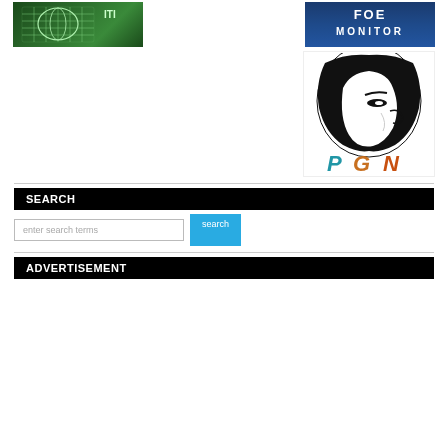[Figure (logo): Green globe/grid logo on dark green background (ITI or similar organization)]
[Figure (logo): FOE MONITOR text logo on blue background]
[Figure (logo): PGN logo with stylized face illustration and PGN letters, P in blue, G in orange/gold, N in orange]
SEARCH
[Figure (screenshot): Search input box with placeholder text 'enter search terms' and a cyan 'search' button]
ADVERTISEMENT